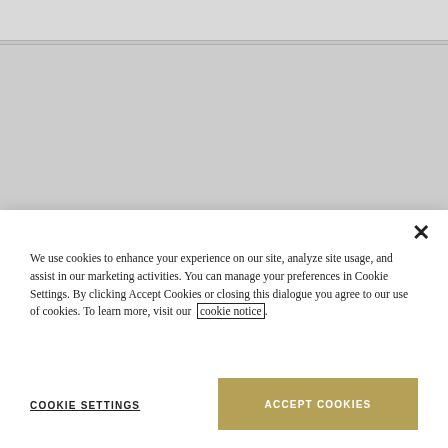[Figure (screenshot): Greyed-out website background with a white top navigation bar and a light grey content area. A dark grid/logo icon (Microsoft-style 3x3 grid with partial arc) is visible in the center-bottom of the background area.]
We use cookies to enhance your experience on our site, analyze site usage, and assist in our marketing activities. You can manage your preferences in Cookie Settings. By clicking Accept Cookies or closing this dialogue you agree to our use of cookies. To learn more, visit our cookie notice.
COOKIE SETTINGS
ACCEPT COOKIES